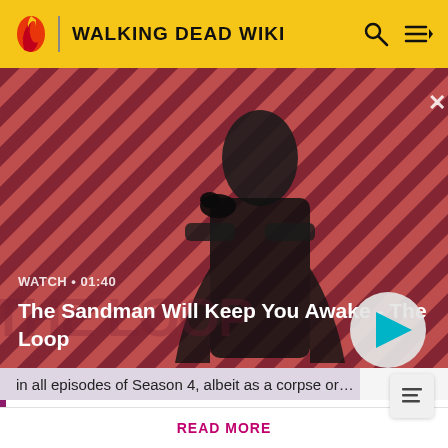WALKING DEAD WIKI
[Figure (screenshot): Video thumbnail showing a dark figure with a raven on shoulder against a red striped background. Title: The Sandman Will Keep You Awake - The Loop. Duration: 01:40. Play button visible.]
in all episodes of Season 4, albeit as a corpse or…
Attention! Please be aware that spoilers are not allowed on the wiki and a violation of this policy may result in a ban.
READ MORE